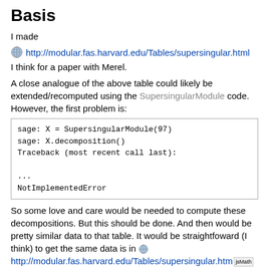Basis
I made
[Figure (other): Globe icon with hyperlink: http://modular.fas.harvard.edu/Tables/supersingular.html]
I think for a paper with Merel.
A close analogue of the above table could likely be extended/recomputed using the SupersingularModule code. However, the first problem is:
sage: X = SupersingularModule(97)
sage: X.decomposition()
Traceback (most recent call last):
...
NotImplementedError
So some love and care would be needed to compute these decompositions. But this should be done. And then would be pretty similar data to that table. It would be straightfoward (I think) to get the same data is in http://modular.fas.harvard.edu/Tables/supersingular.html